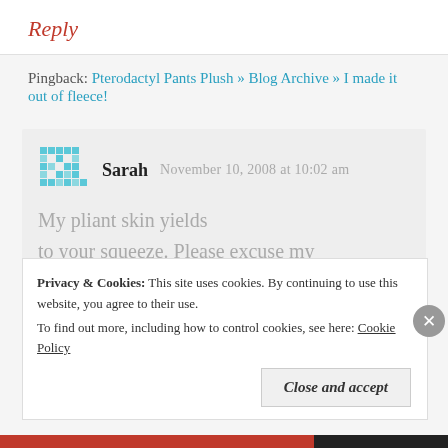Reply
Pingback: Pterodactyl Pants Plush » Blog Archive » I made it out of fleece!
Sarah  November 10, 2008 at 10:02 am
My pliant skin yields to your squeeze. Please excuse my prodigal slime trail.
Privacy & Cookies: This site uses cookies. By continuing to use this website, you agree to their use.
To find out more, including how to control cookies, see here: Cookie Policy
Close and accept